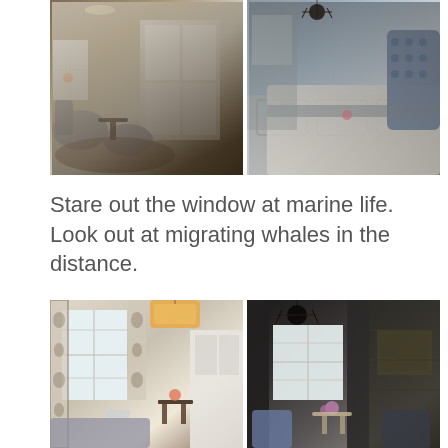[Figure (photo): Two side-by-side interior photos of an elegant hotel/inn room. Left photo shows a sitting area with grey upholstered chairs, an ornate dark wood table, built-in white cabinetry, and floral patterned rug. Right photo shows a bedroom with a blue tufted headboard, white bedding, wainscoting, a chandelier, and a view through to another room.]
Stare out the window at marine life. Look out at migrating whales in the distance.
[Figure (photo): Two side-by-side interior photos. Left photo shows a bright sitting room with floral toile curtains, a drum pendant light, white built-in cabinets, a dark wood console table, and grey upholstered sofa. Right photo shows a darker sitting nook with dark drapes, a chandelier, a window with light, a small table and blue chairs.]